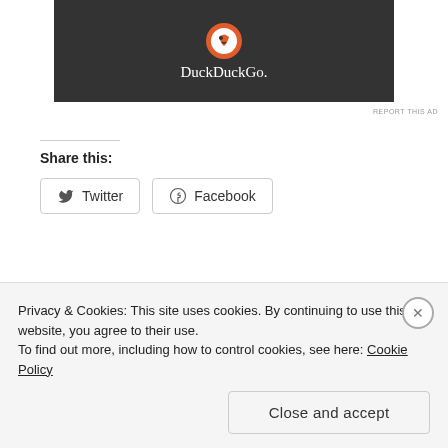[Figure (screenshot): DuckDuckGo advertisement banner with dark background showing DuckDuckGo logo and text]
REPORT THIS AD
Share this:
Twitter  Facebook
Related
Circle of Life   White haven
Privacy & Cookies: This site uses cookies. By continuing to use this website, you agree to their use. To find out more, including how to control cookies, see here: Cookie Policy
Close and accept